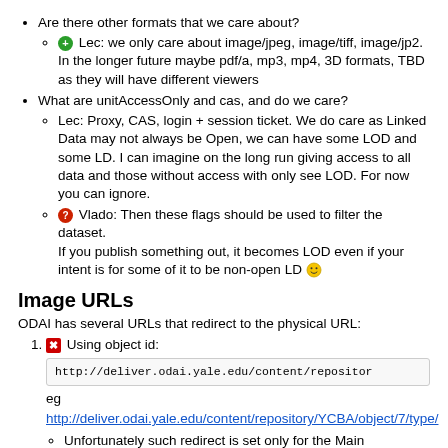Are there other formats that we care about?
Lec: we only care about image/jpeg, image/tiff, image/jp2. In the longer future maybe pdf/a, mp3, mp4, 3D formats, TBD as they will have different viewers
What are unitAccessOnly and cas, and do we care?
Lec: Proxy, CAS, login + session ticket. We do care as Linked Data may not always be Open, we can have some LOD and some LD. I can imagine on the long run giving access to all data and those without access with only see LOD. For now you can ignore.
Vlado: Then these flags should be used to filter the dataset. If you publish something out, it becomes LOD even if your intent is for some of it to be non-open LD :)
Image URLs
ODAI has several URLs that redirect to the physical URL:
Using object id: http://deliver.odai.yale.edu/content/repositor
eg
http://deliver.odai.yale.edu/content/repository/YCBA/object/7/type/
Unfortunately such redirect is set only for the Main